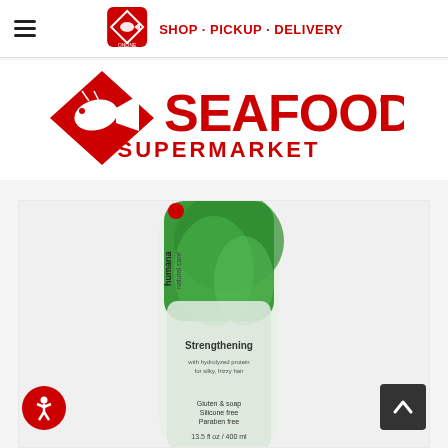[Figure (logo): Hamburger menu icon (three horizontal lines) on the left of the header]
[Figure (logo): Seafood City Supermarket online logo icon — red diamond with fish, with text SHOP · PICKUP · DELIVERY in red]
[Figure (logo): Seafood City Supermarket large red logo with fish icon and SEAFOOD CITY SUPERMARKET text]
[Figure (photo): Product photo of Humana Natural Care Strengthening conditioner bottle with green aloe vera imagery, partially cropped]
[Figure (logo): Accessibility icon button — red circle with wheelchair user symbol]
[Figure (logo): Scroll to top button — dark grey rounded square with white upward chevron]